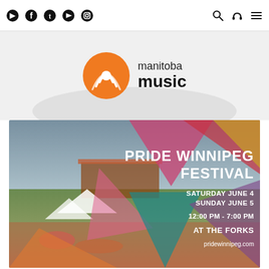Social icons: Spotify, Facebook, Twitter, YouTube, Instagram | Search, Headphones, Menu
[Figure (logo): Manitoba Music logo — orange circle with wifi/sound wave symbol and text 'manitoba music']
[Figure (photo): Pride Winnipeg Festival event poster over a photo of a festival crowd at The Forks outdoor venue with a stage, tents, and crowd. Colorful geometric triangle shapes overlay the image in pink, red, teal, yellow, and purple. Text reads: PRIDE WINNIPEG FESTIVAL / SATURDAY JUNE 4 / SUNDAY JUNE 5 / 12:00 PM - 7:00 PM / AT THE FORKS / pridewinnipeg.com]